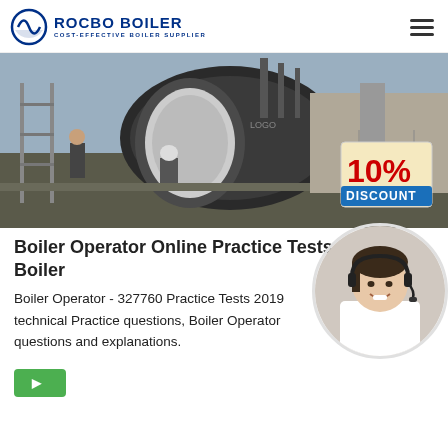ROCBO BOILER - COST-EFFECTIVE BOILER SUPPLIER
[Figure (photo): Industrial boiler installation photo showing a large cylindrical boiler being installed outdoors on a platform with scaffolding, workers nearby, with a 10% DISCOUNT promotional badge overlaid in the bottom-right corner.]
Boiler Operator Online Practice Tests 2019 - Boiler
Boiler Operator - 327760 Practice Tests 2019 technical Practice questions, Boiler Operator questions and explanations.
[Figure (photo): Customer service representative woman wearing a headset, smiling, shown in a circular cropped portrait.]